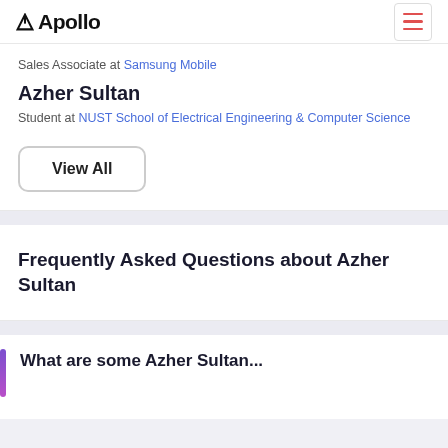Apollo
Sales Associate at Samsung Mobile
Azher Sultan
Student at NUST School of Electrical Engineering & Computer Science
View All
Frequently Asked Questions about Azher Sultan
What are some Azher Sultan...